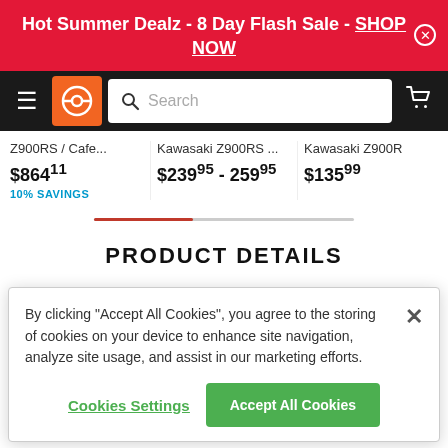Hot Summer Dealz - 8 Day Flash Sale - SHOP NOW
[Figure (screenshot): Navigation bar with hamburger menu, orange logo icon, search bar, and shopping cart icon]
Z900RS / Cafe...
$864.11
10% SAVINGS
Kawasaki Z900RS ...
$239.95 - 259.95
Kawasaki Z900R
$135.99
PRODUCT DETAILS
By clicking “Accept All Cookies”, you agree to the storing of cookies on your device to enhance site navigation, analyze site usage, and assist in our marketing efforts.